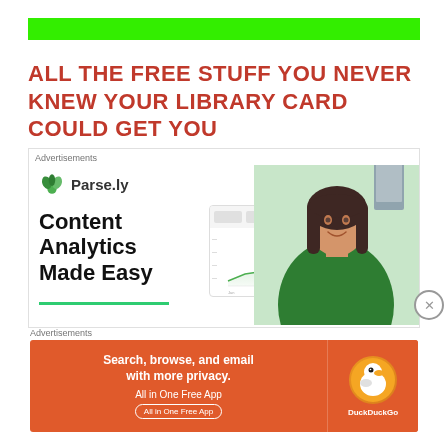[Figure (other): Solid bright green horizontal bar at top of page]
ALL THE FREE STUFF YOU NEVER KNEW YOUR LIBRARY CARD COULD GET YOU
[Figure (screenshot): Parse.ly advertisement showing Content Analytics Made Easy with a woman in green shirt and an analytics chart screenshot]
[Figure (other): DuckDuckGo advertisement: Search, browse, and email with more privacy. All in One Free App. Orange background with duck logo.]